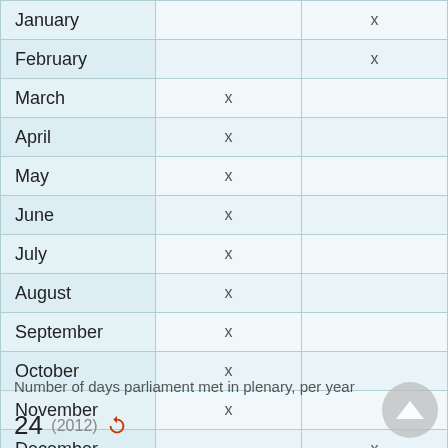| Month |  |  |
| --- | --- | --- |
| January |  | x |
| February |  | x |
| March | x |  |
| April | x |  |
| May | x |  |
| June | x |  |
| July | x |  |
| August | x |  |
| September | x |  |
| October | x |  |
| November | x |  |
| December |  | x |
Number of days parliament met in plenary, per year
24 (2012)